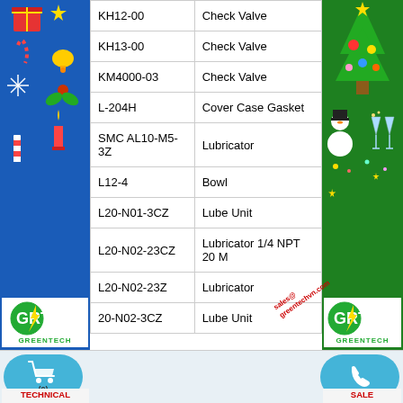| Part Number | Description |
| --- | --- |
| KH12-00 | Check Valve |
| KH13-00 | Check Valve |
| KM4000-03 | Check Valve |
| L-204H | Cover Case Gasket |
| SMC AL10-M5-3Z | Lubricator |
| L12-4 | Bowl |
| L20-N01-3CZ | Lube Unit |
| L20-N02-23CZ | Lubricator 1/4 NPT 20 M |
| L20-N02-23Z | Lubricator |
| 20-N02-3CZ | Lube Unit |
TECHNICAL SUPPORT
SALE SUPPORT
MR. NHÂN
0935 041313
Merry Christmas
Happy New Year
[Figure (logo): GRT Greentech logo left]
[Figure (logo): GRT Greentech logo right]
sales@greentechvn.com
[Figure (illustration): Shopping cart button (0)]
[Figure (illustration): Phone call button]